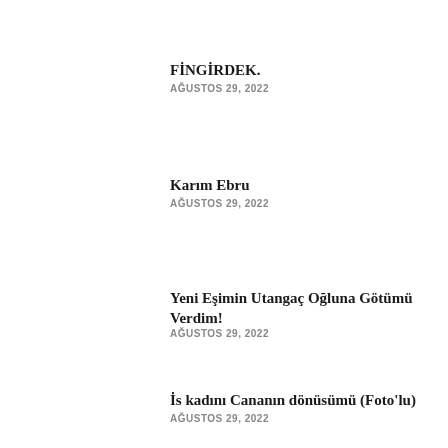FİNGİRDEK.
AĞUSTOS 29, 2022
Karım Ebru
AĞUSTOS 29, 2022
Yeni Eşimin Utangaç Oğluna Götümü Verdim!
AĞUSTOS 29, 2022
İs kadını Cananın dönüsümü (Foto'lu)
AĞUSTOS 29, 2022